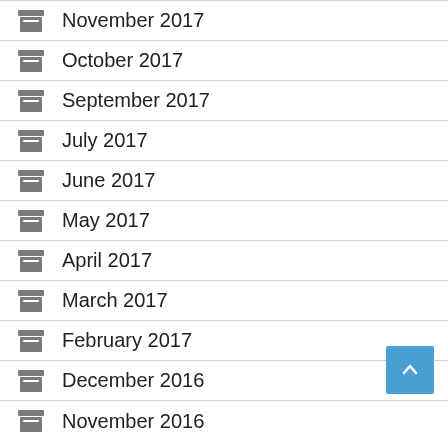November 2017
October 2017
September 2017
July 2017
June 2017
May 2017
April 2017
March 2017
February 2017
December 2016
November 2016